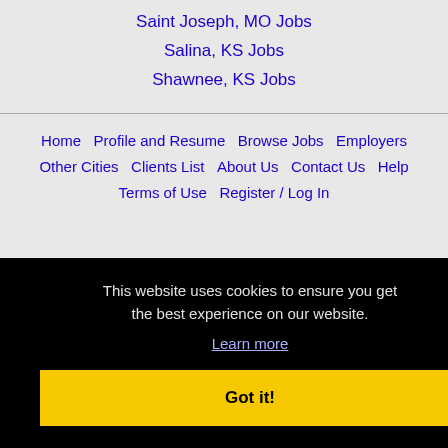Saint Joseph, MO Jobs
Salina, KS Jobs
Shawnee, KS Jobs
Home | Profile and Resume | Browse Jobs | Employers | Other Cities | Clients List | About Us | Contact Us | Help | Terms of Use | Register / Log In
This website uses cookies to ensure you get the best experience on our website. Learn more
Got it!